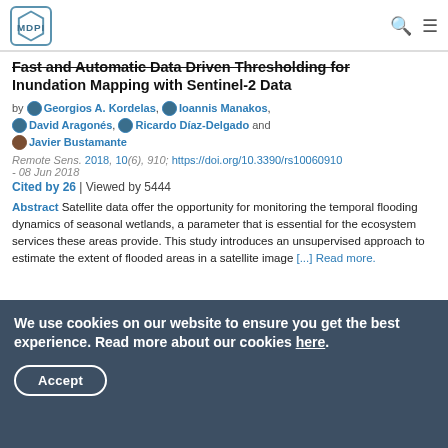MDPI
Fast and Automatic Data Driven Thresholding for Inundation Mapping with Sentinel-2 Data
by Georgios A. Kordelas, Ioannis Manakos, David Aragonés, Ricardo Díaz-Delgado and Javier Bustamante
Remote Sens. 2018, 10(6), 910; https://doi.org/10.3390/rs10060910 - 08 Jun 2018
Cited by 26 | Viewed by 5444
Abstract Satellite data offer the opportunity for monitoring the temporal flooding dynamics of seasonal wetlands, a parameter that is essential for the ecosystem services these areas provide. This study introduces an unsupervised approach to estimate the extent of flooded areas in a satellite image [...] Read more.
We use cookies on our website to ensure you get the best experience. Read more about our cookies here.